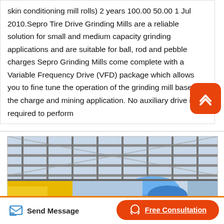(skin conditioning mill rolls) 2 years 100.00 50.00 1 Jul 2010.Sepro Tire Drive Grinding Mills are a reliable solution for small and medium capacity grinding applications and are suitable for ball, rod and pebble charges Sepro Grinding Mills come complete with a Variable Frequency Drive (VFD) package which allows you to fine tune the operation of the grinding mill based on the charge and mining application. No auxiliary drive is required to perform
[Figure (photo): Industrial facility ceiling with steel structure, metallic gratings, and blue rolled material visible in the foreground]
Send Message | Free Consultation